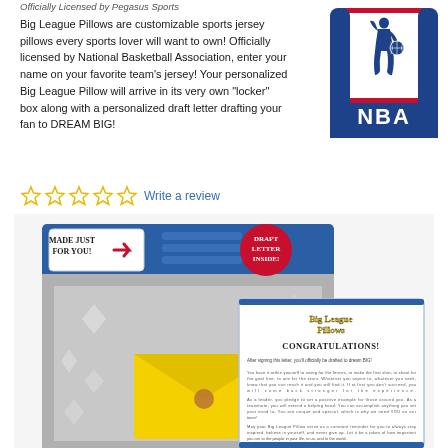Officially Licensed by Pegasus Sports
Big League Pillows are customizable sports jersey pillows every sports lover will want to own! Officially licensed by National Basketball Association, enter your name on your favorite team's jersey! Your personalized Big League Pillow will arrive in its very own "locker" box along with a personalized draft letter drafting your fan to DREAM BIG!
[Figure (logo): NBA official logo — red and blue basketball player silhouette with NBA text]
☆☆☆☆☆ Write a review
[Figure (photo): Big League Pillows product image showing a locker box with 'MADE JUST FOR YOU!' and 'DRAFT LETTER INSIDE!' labels, a yellow envelope inside the locker, and a congratulations letter from Big League Pillows]